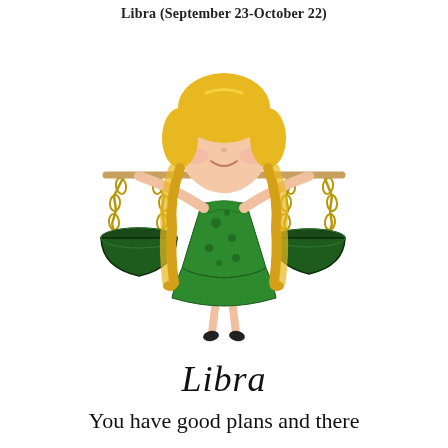Libra (September 23-October 22)
[Figure (illustration): Cartoon illustration of a blonde girl in a green polka-dot dress holding a balance scale (Libra zodiac symbol), with braided pigtails and arms outstretched holding chains with green bowls on each side.]
Libra
You have good plans and there